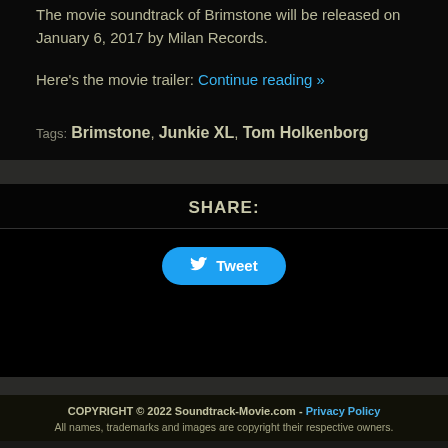The movie soundtrack of Brimstone will be released on January 6, 2017 by Milan Records.
Here's the movie trailer: Continue reading »
Tags: Brimstone, Junkie XL, Tom Holkenborg
SHARE:
[Figure (other): Tweet button with Twitter bird icon]
COPYRIGHT © 2022 Soundtrack-Movie.com - Privacy Policy
All names, trademarks and images are copyright their respective owners.